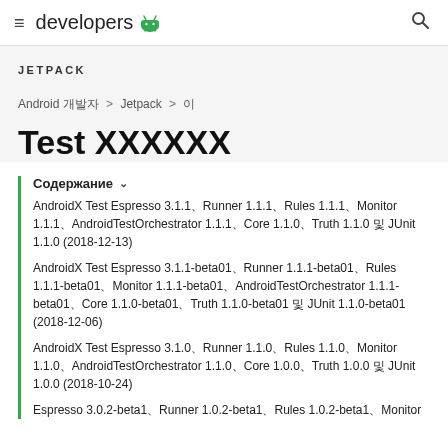≡ developers 🤖 🔍
JETPACK
Android 개발자 > Jetpack > 이
Test 릴리스노트
Содержание ∨
AndroidX Test Espresso 3.1.1、Runner 1.1.1、Rules 1.1.1、Monitor 1.1.1、AndroidTestOrchestrator 1.1.1、Core 1.1.0、Truth 1.1.0 및 JUnit 1.1.0 (2018-12-13)
AndroidX Test Espresso 3.1.1-beta01、Runner 1.1.1-beta01、Rules 1.1.1-beta01、Monitor 1.1.1-beta01、AndroidTestOrchestrator 1.1.1-beta01、Core 1.1.0-beta01、Truth 1.1.0-beta01 및 JUnit 1.1.0-beta01 (2018-12-06)
AndroidX Test Espresso 3.1.0、Runner 1.1.0、Rules 1.1.0、Monitor 1.1.0、AndroidTestOrchestrator 1.1.0、Core 1.0.0、Truth 1.0.0 및 JUnit 1.0.0 (2018-10-24)
Espresso 3.0.2-beta1、Runner 1.0.2-beta1、Rules 1.0.2-beta1、Monitor...